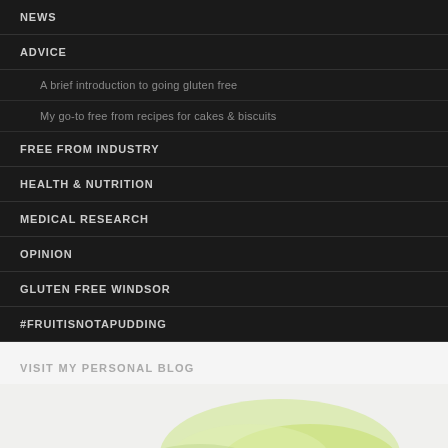NEWS
ADVICE
A brief introduction to going gluten free
My go-to free from recipes for cakes & biscuits
FREE FROM INDUSTRY
HEALTH & NUTRITION
MEDICAL RESEARCH
OPINION
GLUTEN FREE WINDSOR
#FRUITISNOTAPUDDING
VISIT MY PERSONAL BLOG
[Figure (photo): Partial view of a food photo, likely a fruit or vegetable with green and yellow tones, cropped at bottom of page]